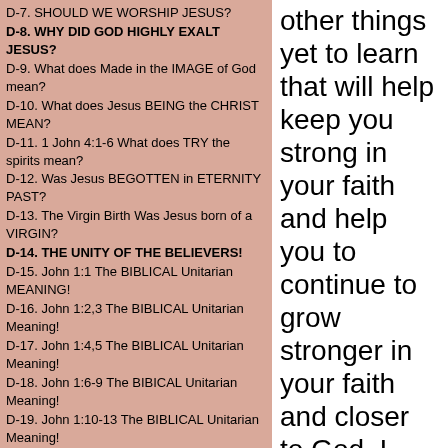D-7. SHOULD WE WORSHIP JESUS?
D-8. WHY DID GOD HIGHLY EXALT JESUS?
D-9. What does Made in the IMAGE of God mean?
D-10. What does Jesus BEING the CHRIST MEAN?
D-11. 1 John 4:1-6 What does TRY the spirits mean?
D-12. Was Jesus BEGOTTEN in ETERNITY PAST?
D-13. The Virgin Birth Was Jesus born of a VIRGIN?
D-14. THE UNITY OF THE BELIEVERS!
D-15. John 1:1 The BIBLICAL Unitarian MEANING!
D-16. John 1:2,3 The BIBLICAL Unitarian Meaning!
D-17. John 1:4,5 The BIBLICAL Unitarian Meaning!
D-18. John 1:6-9 The BIBICAL Unitarian Meaning!
D-19. John 1:10-13 The BIBLICAL Unitarian Meaning!
D-20. John 1:14-18 The BIBLICAL Unitarian Meaning!
D-21. TRUE meaning of Matthew 4:10 and Luke 4:8!
D-22. Is ORTHODOX Christianity TRUE Christianity
D-23. WHAT is the NEW NAME of Jesus? Part 1.
D-24. WHAT is the NEW NAME of Jesus? Part 2.
>>>L-0. CAN WOMEN BE PASTORS?<<<
L-1. MUST Women KEEP SILENT in the CHURCH?
L-2. The ROLE OF WOMEN in the CHURCH!
L-3. CAN WOMEN TEACH MEN in the CHURCH?
L-4. Can a WOMAN be a PASTOR over a Church?
L-5. WOMEN USED by GOD in REVIVALS!
other things yet to learn that will help keep you strong in your faith and help you to continue to grow stronger in your faith and closer to God. I have